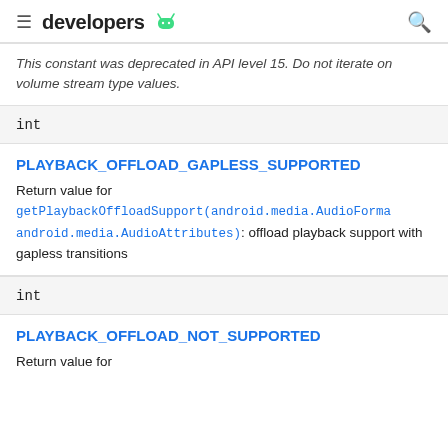developers
This constant was deprecated in API level 15. Do not iterate on volume stream type values.
int
PLAYBACK_OFFLOAD_GAPLESS_SUPPORTED
Return value for getPlaybackOffloadSupport(android.media.AudioFormat, android.media.AudioAttributes): offload playback support with gapless transitions
int
PLAYBACK_OFFLOAD_NOT_SUPPORTED
Return value for